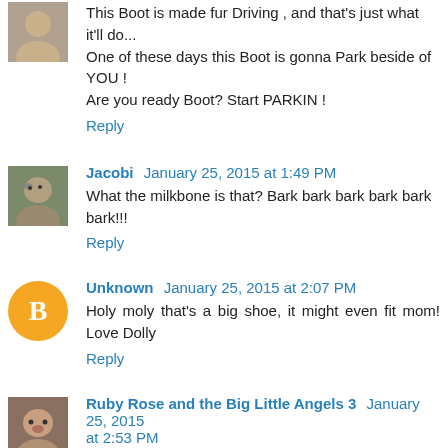This Boot is made fur Driving , and that's just what it'll do... One of these days this Boot is gonna Park beside of YOU ! Are you ready Boot? Start PARKIN !
Reply
Jacobi January 25, 2015 at 1:49 PM
What the milkbone is that? Bark bark bark bark bark bark!!!
Reply
Unknown January 25, 2015 at 2:07 PM
Holy moly that's a big shoe, it might even fit mom! Love Dolly
Reply
Ruby Rose and the Big Little Angels 3 January 25, 2015 at 2:53 PM
Wow you found Big Foot